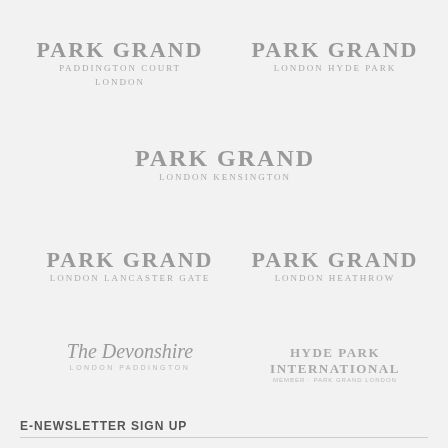[Figure (logo): Park Grand Paddington Court London logo]
[Figure (logo): Park Grand London Hyde Park logo]
[Figure (logo): Park Grand London Kensington logo]
[Figure (logo): Park Grand London Lancaster Gate logo]
[Figure (logo): Park Grand London Heathrow logo]
[Figure (logo): The Devonshire London Paddington logo]
[Figure (logo): Hyde Park International logo]
E-NEWSLETTER SIGN UP